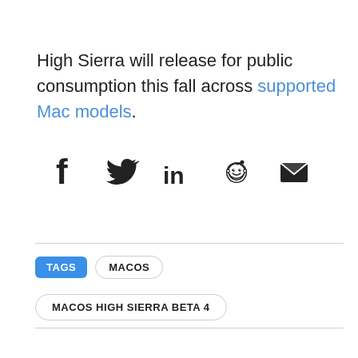High Sierra will release for public consumption this fall across supported Mac models.
[Figure (infographic): Social sharing icons: Facebook, Twitter, LinkedIn, Reddit, Email (envelope)]
TAGS  MACOS
MACOS HIGH SIERRA BETA 4